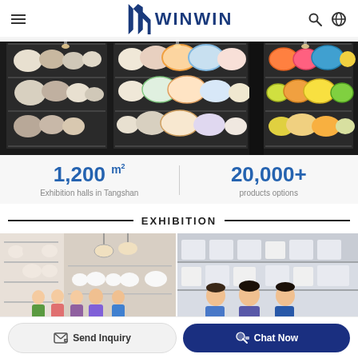WINWIN
[Figure (photo): Showroom shelves displaying colorful ceramic plates and dinnerware products in a dark-themed exhibition hall]
1,200 m² Exhibition halls in Tangshan
20,000+ products options
EXHIBITION
[Figure (photo): Two exhibition photos showing groups of people posing in a ceramics showroom and standing with a company representative]
Send Inquiry
Chat Now